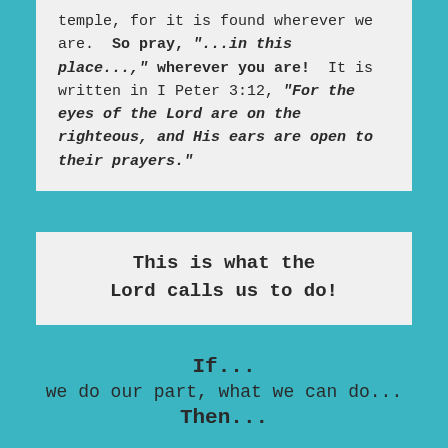temple, for it is found wherever we are.  So pray, "...in this place...," wherever you are!  It is written in I Peter 3:12, "For the eyes of the Lord are on the righteous, and His ears are open to their prayers."
This is what the Lord calls us to do!
If...
we do our part, what we can do...
Then...